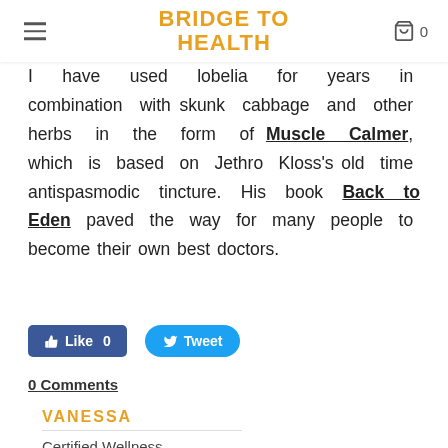BRIDGE TO HEALTH
I have used lobelia for years in combination with skunk cabbage and other herbs in the form of Muscle Calmer, which is based on Jethro Kloss's old time antispasmodic tincture. His book Back to Eden paved the way for many people to become their own best doctors.
[Figure (screenshot): Facebook Like button (0 likes) and Twitter Tweet button]
0 Comments
VANESSA
Certified Wellness